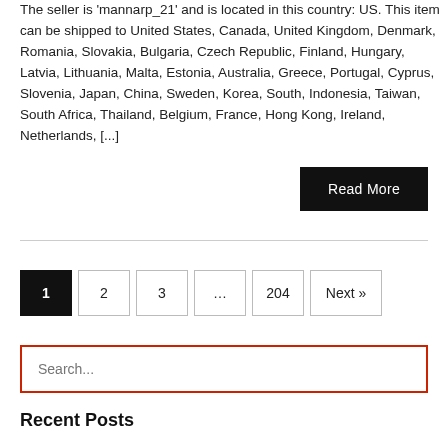The seller is 'mannarp_21' and is located in this country: US. This item can be shipped to United States, Canada, United Kingdom, Denmark, Romania, Slovakia, Bulgaria, Czech Republic, Finland, Hungary, Latvia, Lithuania, Malta, Estonia, Australia, Greece, Portugal, Cyprus, Slovenia, Japan, China, Sweden, Korea, South, Indonesia, Taiwan, South Africa, Thailand, Belgium, France, Hong Kong, Ireland, Netherlands, [...]
Read More
1  2  3  ...  204  Next »
Search...
Recent Posts